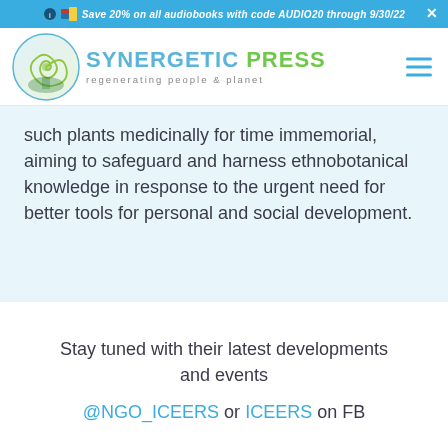Save 20% on all audiobooks with code AUDIO20 through 9/30/22
[Figure (logo): Synergetic Press logo with nautilus shell spiral circle and text 'SYNERGETIC PRESS regenerating people & planet']
such plants medicinally for time immemorial, aiming to safeguard and harness ethnobotanical knowledge in response to the urgent need for better tools for personal and social development.
Stay tuned with their latest developments and events
@NGO_ICEERS or ICEERS on FB